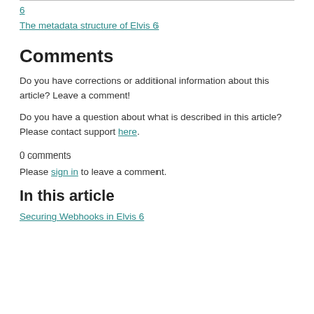6
The metadata structure of Elvis 6
Comments
Do you have corrections or additional information about this article? Leave a comment!
Do you have a question about what is described in this article? Please contact support here.
0 comments
Please sign in to leave a comment.
In this article
Securing Webhooks in Elvis 6